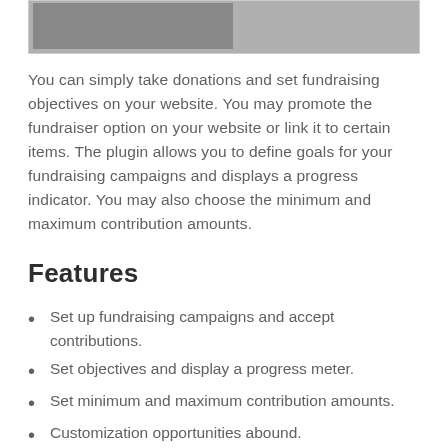[Figure (photo): Partial image visible at top of page showing a road or surface scene in grayscale]
You can simply take donations and set fundraising objectives on your website. You may promote the fundraiser option on your website or link it to certain items. The plugin allows you to define goals for your fundraising campaigns and displays a progress indicator. You may also choose the minimum and maximum contribution amounts.
Features
Set up fundraising campaigns and accept contributions.
Set objectives and display a progress meter.
Set minimum and maximum contribution amounts.
Customization opportunities abound.